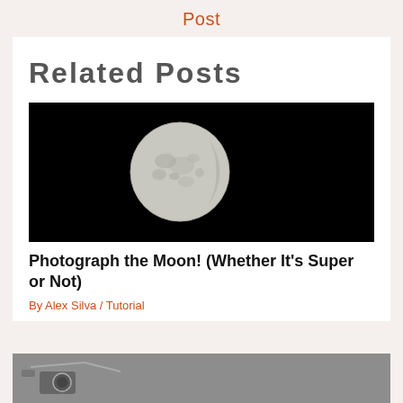Post
Related Posts
[Figure (photo): Full moon photographed against a completely black night sky. The moon appears in the left-center of the image, showing surface details including craters and mare regions.]
Photograph the Moon! (Whether It's Super or Not)
By Alex Silva / Tutorial
[Figure (photo): Partial view of a second related post image, appears to show a camera or photography equipment in black and white/grayscale.]